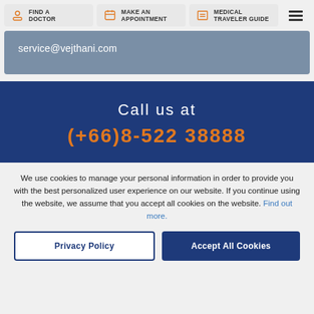FIND A DOCTOR | MAKE AN APPOINTMENT | MEDICAL TRAVELER GUIDE
service@vejthani.com
Call us at
(+66)8-522 38888
We use cookies to manage your personal information in order to provide you with the best personalized user experience on our website. If you continue using the website, we assume that you accept all cookies on the website. Find out more.
Privacy Policy | Accept All Cookies